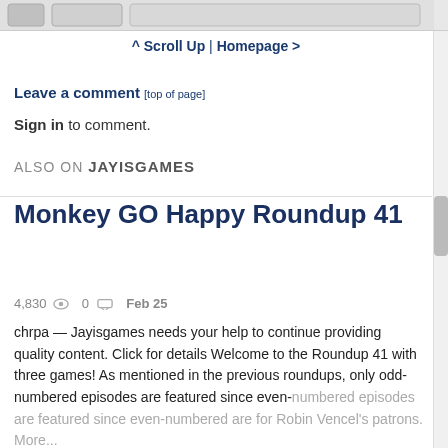[Figure (screenshot): Top cropped UI element / gray bar at top of page]
^ Scroll Up | Homepage >
Leave a comment [top of page]
Sign in to comment.
ALSO ON JAYISGAMES
Monkey GO Happy Roundup 41
4,830   0   Feb 25
chrpa — Jayisgames needs your help to continue providing quality content. Click for details Welcome to the Roundup 41 with three games! As mentioned in the previous roundups, only odd-numbered episodes are featured since even-numbered are for Robin Vencel's patrons. More...